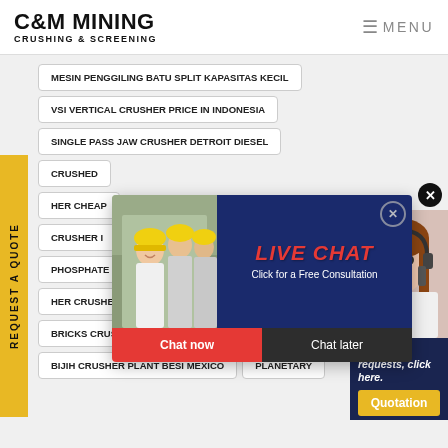C&M MINING CRUSHING & SCREENING | MENU
MESIN PENGGILING BATU SPLIT KAPASITAS KECIL
VSI VERTICAL CRUSHER PRICE IN INDONESIA
SINGLE PASS JAW CRUSHER DETROIT DIESEL
CRUSHED
HER CHEAP
CRUSHER I
PHOSPHATE BENEFICIATION PROCESS
BE
HER CRUSHER WEAR PARTS DIRECT FROM CHI
BRICKS CRUSHER FOR SALE NEWCASTLE
BIJIH CRUSHER PLANT BESI MEXICO
PLANETARY
[Figure (screenshot): Live chat popup with workers in hard hats image, LIVE CHAT heading in red, 'Click for a Free Consultation' text, Chat now (red) and Chat later (dark) buttons]
[Figure (photo): Customer service agent (woman with headset) with blue 'Have any requests, click here.' panel and yellow Quotation button]
REQUEST A QUOTE